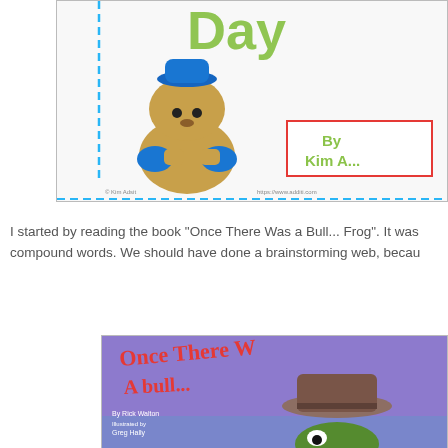[Figure (illustration): Book cover of a Groundhog Day themed children's book showing a cartoon groundhog wearing a blue hat and holding blue mittens, with text 'Day' and 'By Kim A...' visible, decorated with blue dashed border]
I started by reading the book "Once There Was a Bull... Frog". It was compound words. We should have done a brainstorming web, becau
[Figure (illustration): Book cover of 'Once There Was a Bull... (Frog)' by Rick Walton, illustrated by Greg Hally, showing a frog wearing a cowboy hat against a purple background]